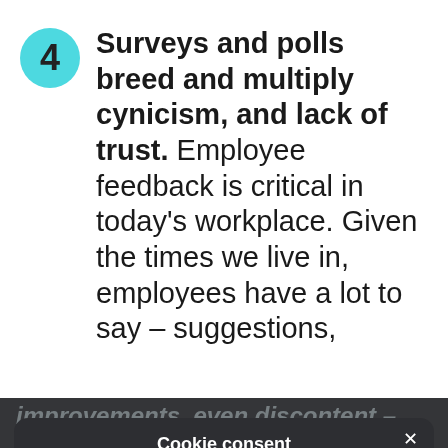4 Surveys and polls breed and multiply cynicism, and lack of trust. Employee feedback is critical in today's workplace. Given the times we live in, employees have a lot to say – suggestions,
improvements, even discontent – and we strongly believe everyone needs an outlet to voice their opinions...
[Figure (screenshot): Cookie consent modal overlay on a dark background. Contains title 'Cookie consent', description text about data and cookies with a Privacy Policy link, four checkbox options (CORE checked, ANALYTICS, TARGETING, MISC unchecked), two buttons (ACCEPT ALL in green, DECLINE ALL outlined), SHOW DETAILS option with gear icon, and POWERED BY COOKIESCRIPT footer. A close (X) button appears top right.]